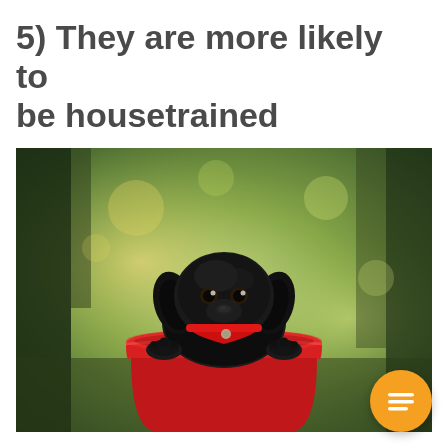5) They are more likely to be housetrained
[Figure (photo): A black cocker spaniel puppy sitting inside a red bucket outdoors, with a blurred green garden background. The puppy wears a red collar and looks at the camera with its paws resting on the rim of the bucket.]